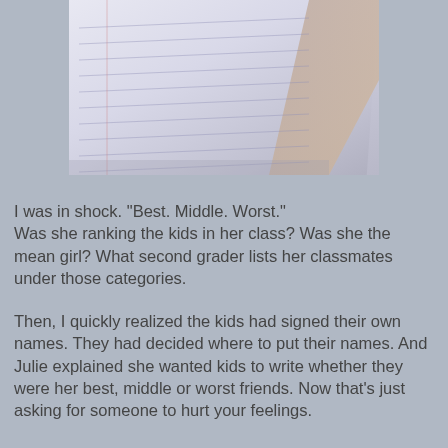[Figure (photo): Photo of a blank lined notebook paper on a surface, shot at an angle]
I was in shock. "Best. Middle. Worst."
Was she ranking the kids in her class? Was she the mean girl? What second grader lists her classmates under those categories.
Then, I quickly realized the kids had signed their own names. They had decided where to put their names. And Julie explained she wanted kids to write whether they were her best, middle or worst friends. Now that's just asking for someone to hurt your feelings.